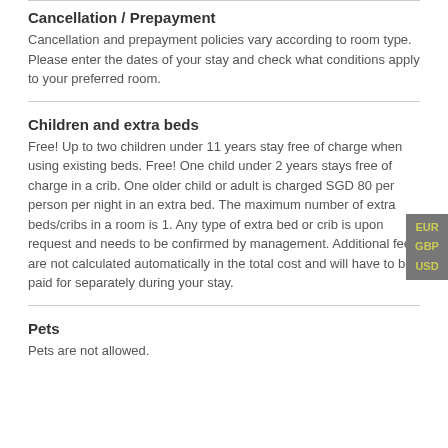Cancellation / Prepayment
Cancellation and prepayment policies vary according to room type. Please enter the dates of your stay and check what conditions apply to your preferred room.
Children and extra beds
Free! Up to two children under 11 years stay free of charge when using existing beds. Free! One child under 2 years stays free of charge in a crib. One older child or adult is charged SGD 80 per person per night in an extra bed. The maximum number of extra beds/cribs in a room is 1. Any type of extra bed or crib is upon request and needs to be confirmed by management. Additional fees are not calculated automatically in the total cost and will have to be paid for separately during your stay.
Pets
Pets are not allowed.